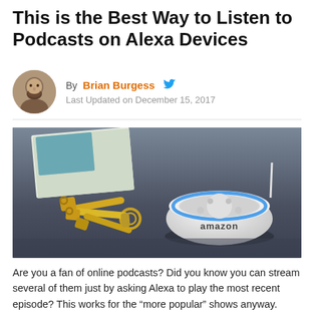This is the Best Way to Listen to Podcasts on Alexa Devices
By Brian Burgess  Last Updated on December 15, 2017
[Figure (photo): An Amazon Echo Dot device (white, with blue ring light and 'amazon' label) sitting on a dark surface next to a set of gold keys on a keychain, with a book/magazine in the background.]
Are you a fan of online podcasts? Did you know you can stream several of them just by asking Alexa to play the most recent episode? This works for the “more popular” shows anyway. However, being able to subscribe to new